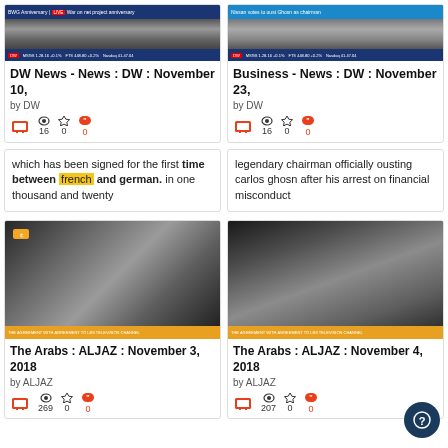[Figure (screenshot): Thumbnail for DW News November 10 video with blue news banner]
DW News - News : DW : November 10,
by DW
16 views, 0 stars, 0 quotes
which has been signed for the first time between french and german. in one thousand and twenty
[Figure (screenshot): Thumbnail for Business News DW November 23 video with blue stock ticker banner]
Business - News : DW : November 23,
by DW
16 views, 0 stars, 0 quotes
legendary chairman officially ousting carlos ghosn after his arrest on financial misconduct
[Figure (screenshot): Black and white thumbnail for The Arabs ALJAZ November 3 2018]
The Arabs : ALJAZ : November 3, 2018
by ALJAZ
269 views, 0 stars, 0 quotes
[Figure (screenshot): Black and white thumbnail for The Arabs ALJAZ November 4 2018]
The Arabs : ALJAZ : November 4, 2018
by ALJAZ
207 views, 0 stars, 0 quotes